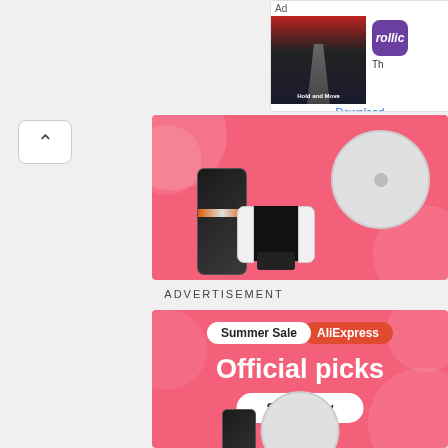[Figure (screenshot): Mobile app advertisement for 'Hold and Move' game by Rollic, with download button]
[Figure (screenshot): AliExpress electronics advertisement banner showing robot vacuum, phone, and Nintendo Switch on pink background]
ADVERTISEMENT
[Figure (screenshot): AliExpress Summer Sale banner with 'Official picks' headline and 'Shop now' button on pink background]